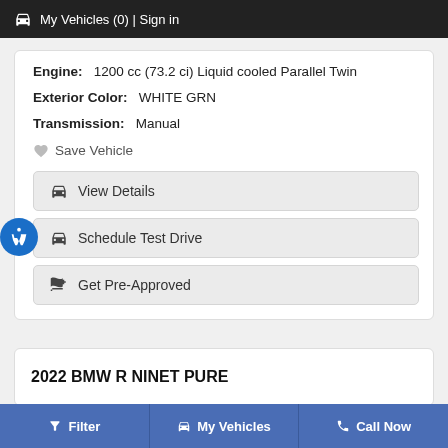🚗 My Vehicles (0) | Sign in
Engine: 1200 cc (73.2 ci) Liquid cooled Parallel Twin
Exterior Color: WHITE GRN
Transmission: Manual
♡ Save Vehicle
🚗 View Details
🚗 Schedule Test Drive
👍 Get Pre-Approved
2022 BMW R NINET PURE
Filter | My Vehicles | Call Now